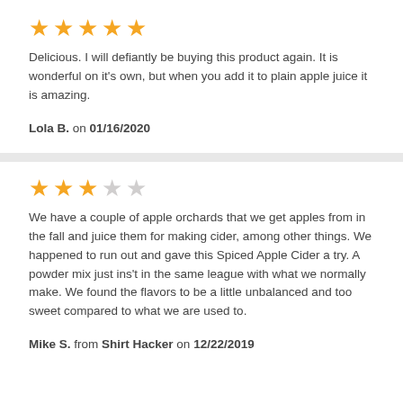[Figure (other): 5 filled gold stars rating]
Delicious. I will defiantly be buying this product again. It is wonderful on it's own, but when you add it to plain apple juice it is amazing.
Lola B. on 01/16/2020
[Figure (other): 3 filled gold stars and 2 empty stars rating]
We have a couple of apple orchards that we get apples from in the fall and juice them for making cider, among other things. We happened to run out and gave this Spiced Apple Cider a try. A powder mix just ins't in the same league with what we normally make. We found the flavors to be a little unbalanced and too sweet compared to what we are used to.
Mike S. from Shirt Hacker on 12/22/2019